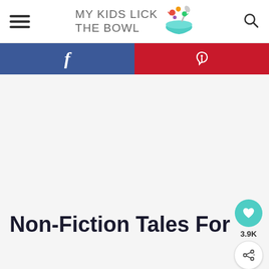MY KIDS LICK THE BOWL
[Figure (logo): Colorful bowl logo with spoon and food items]
[Figure (infographic): Social media share bar with Facebook (blue) and Pinterest (red) buttons]
[Figure (other): Advertisement/banner area (blank)]
[Figure (other): Floating heart favorite button showing 3.9K count and share button]
Non-Fiction Tales For